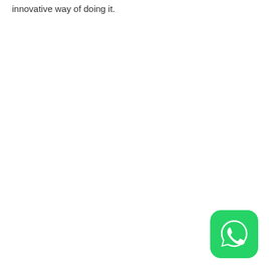innovative way of doing it.
[Figure (logo): WhatsApp app icon — rounded green square with white phone/chat bubble logo]